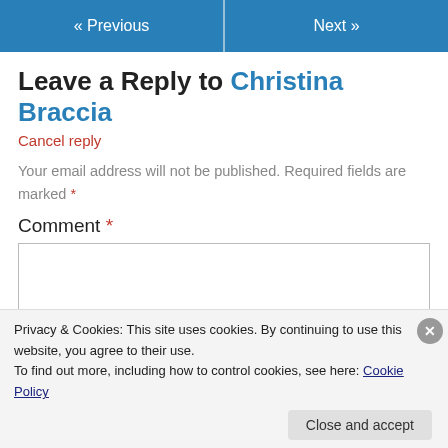« Previous   Next »
Leave a Reply to Christina Braccia
Cancel reply
Your email address will not be published. Required fields are marked *
Comment *
Privacy & Cookies: This site uses cookies. By continuing to use this website, you agree to their use.
To find out more, including how to control cookies, see here: Cookie Policy
Close and accept